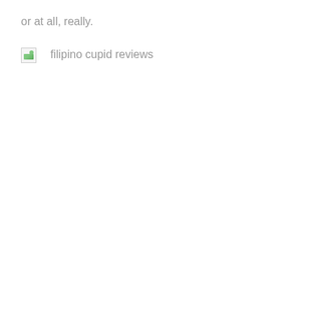or at all, really.
[Figure (photo): Broken image placeholder with alt text 'filipino cupid reviews']
filipino cupid reviews